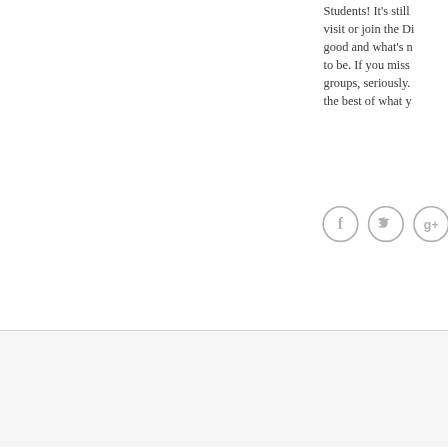Students! It's still visit or join the Di good and what's n to be. If you miss groups, seriously. the best of what y
[Figure (illustration): Three circular social media icons: Facebook (f), Twitter (bird), and Google+ (g+), rendered in light gray with circle outlines.]